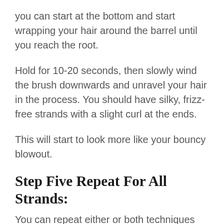you can start at the bottom and start wrapping your hair around the barrel until you reach the root.
Hold for 10-20 seconds, then slowly wind the brush downwards and unravel your hair in the process. You should have silky, frizz-free strands with a slight curl at the ends.
This will start to look more like your bouncy blowout.
Step Five Repeat For All Strands:
You can repeat either or both techniques when blow-drying your hair using a blow-dry brush. You can either alternate between the two so you can achieve the ultimate bouncy